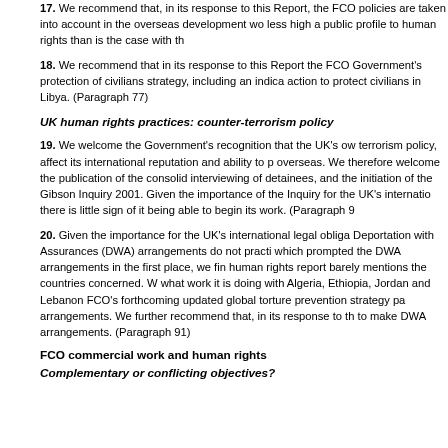17.  We recommend that, in its response to this Report, the FCO policies are taken into account in the overseas development wo less high a public profile to human rights than is the case with th
18.  We recommend that in its response to this Report the FCO Government's protection of civilians strategy, including an indica action to protect civilians in Libya. (Paragraph 77)
UK human rights practices: counter-terrorism policy
19.  We welcome the Government's recognition that the UK's ow terrorism policy, affect its international reputation and ability to p overseas. We therefore welcome the publication of the consolid interviewing of detainees, and the initiation of the Gibson Inquiry 2001. Given the importance of the Inquiry for the UK's internatio there is little sign of it being able to begin its work. (Paragraph 9
20.  Given the importance for the UK's international legal obliga Deportation with Assurances (DWA) arrangements do not practi which prompted the DWA arrangements in the first place, we fin human rights report barely mentions the countries concerned. W what work it is doing with Algeria, Ethiopia, Jordan and Lebanon FCO's forthcoming updated global torture prevention strategy pa arrangements. We further recommend that, in its response to th to make DWA arrangements. (Paragraph 91)
FCO commercial work and human rights
Complementary or conflicting objectives?